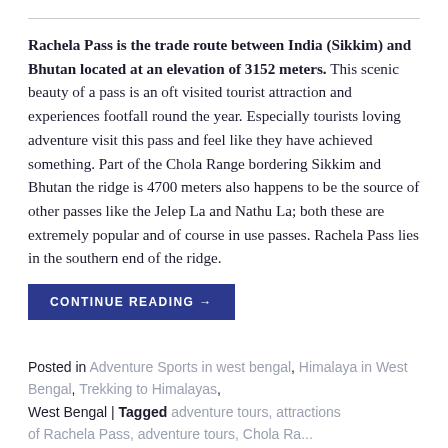Rachela Pass is the trade route between India (Sikkim) and Bhutan located at an elevation of 3152 meters. This scenic beauty of a pass is an oft visited tourist attraction and experiences footfall round the year. Especially tourists loving adventure visit this pass and feel like they have achieved something. Part of the Chola Range bordering Sikkim and Bhutan the ridge is 4700 meters also happens to be the source of other passes like the Jelep La and Nathu La; both these are extremely popular and of course in use passes. Rachela Pass lies in the southern end of the ridge.
CONTINUE READING →
Posted in Adventure Sports in west bengal, Himalaya in West Bengal, Trekking to Himalayas, West Bengal | Tagged adventure tours, attractions of Rachela Pass, adventure tours, Chola Range